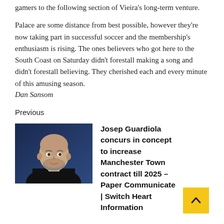gamers to the following section of Vieira's long-term venture.
Palace are some distance from best possible, however they're now taking part in successful soccer and the membership's enthusiasm is rising. The ones believers who got here to the South Coast on Saturday didn't forestall making a song and didn't forestall believing. They cherished each and every minute of this amusing season.
Dan Sansom
Previous
[Figure (photo): Headshot photograph of Josep Guardiola, a bald man with beard wearing a dark jacket, blue-tinted background]
Josep Guardiola concurs in concept to increase Manchester Town contract till 2025 – Paper Communicate | Switch Heart Information